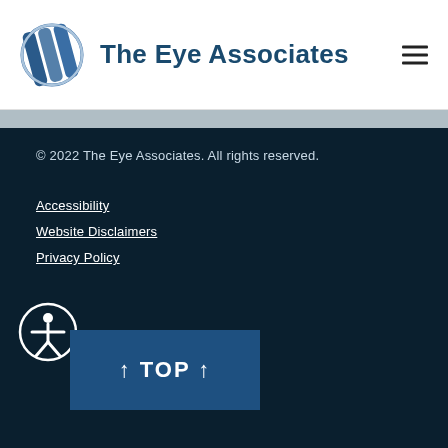The Eye Associates
© 2022 The Eye Associates. All rights reserved.
Accessibility
Website Disclaimers
Privacy Policy
[Figure (illustration): Accessibility icon — circle with human figure arms outstretched]
↑ TOP ↑